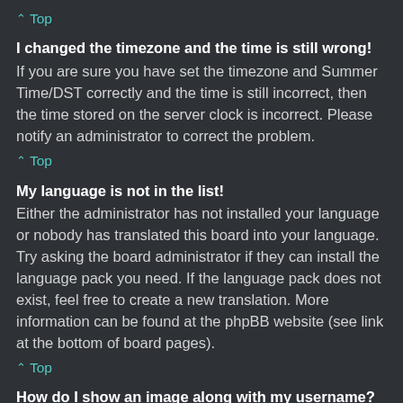^ Top
I changed the timezone and the time is still wrong!
If you are sure you have set the timezone and Summer Time/DST correctly and the time is still incorrect, then the time stored on the server clock is incorrect. Please notify an administrator to correct the problem.
^ Top
My language is not in the list!
Either the administrator has not installed your language or nobody has translated this board into your language. Try asking the board administrator if they can install the language pack you need. If the language pack does not exist, feel free to create a new translation. More information can be found at the phpBB website (see link at the bottom of board pages).
^ Top
How do I show an image along with my username?
There are two images which may appear along with a username when viewing posts. One of them may be an image associated with your rank, generally in the form...